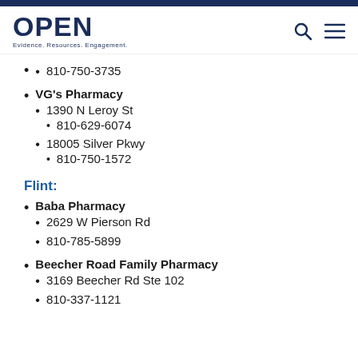OPEN — Evidence. Resources. Engagement.
810-750-3735
VG's Pharmacy
1390 N Leroy St
810-629-6074
18005 Silver Pkwy
810-750-1572
Flint:
Baba Pharmacy
2629 W Pierson Rd
810-785-5899
Beecher Road Family Pharmacy
3169 Beecher Rd Ste 102
810-337-1121